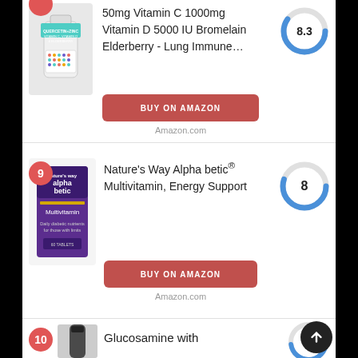[Figure (photo): Supplement bottle with quercetin, zinc, vitamin C, vitamin D, elderberry]
50mg Vitamin C 1000mg Vitamin D 5000 IU Bromelain Elderberry - Lung Immune…
[Figure (donut-chart): Score]
BUY ON AMAZON
Amazon.com
[Figure (photo): Nature's Way Alpha Betic Multivitamin box]
Nature's Way Alpha betic® Multivitamin, Energy Support
[Figure (donut-chart): Score]
BUY ON AMAZON
Amazon.com
[Figure (photo): Supplement bottle, item 10]
Glucosamine with